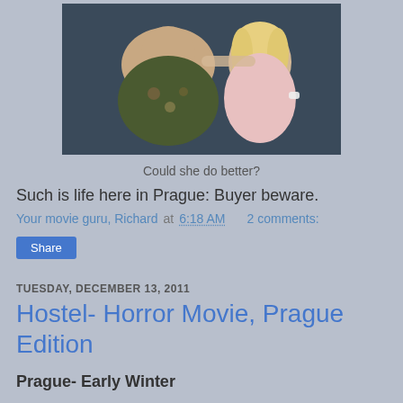[Figure (photo): Two people posing together for a photo — a heavyset man in a floral shirt and a blonde woman in a pink top]
Could she do better?
Such is life here in Prague: Buyer beware.
Your movie guru, Richard at 6:18 AM    2 comments:
Share
TUESDAY, DECEMBER 13, 2011
Hostel- Horror Movie, Prague Edition
Prague- Early Winter